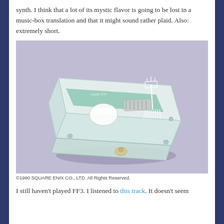synth. I think that a lot of its mystic flavor is going to be lost in a music-box translation and that it might sound rather plaid. Also: extremely short.
[Figure (photo): A translucent plastic music box with white mechanical components visible inside, including a cylinder and comb mechanism. Photographed at an angle on a light purple/grey background. A white line-art illustration of a character is visible on the lid.]
©1990 SQUARE ENIX CO., LTD. All Rights Reserved.
I still haven't played FF3. I listened to this track. It doesn't seem